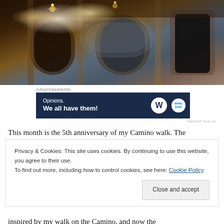[Figure (photo): Interior of an ornate baroque church with chandeliers, gilded decorations, frescoed arches, and elaborate stonework]
Advertisements
[Figure (screenshot): Advertisement banner with dark navy background reading 'Opinions. We all have them!' with WordPress logo and another circular logo]
REPORT THIS AD
This month is the 5th anniversary of my Camino walk. The
Privacy & Cookies: This site uses cookies. By continuing to use this website, you agree to their use.
To find out more, including how to control cookies, see here: Cookie Policy
Close and accept
inspired by my walk on the Camino, and now the